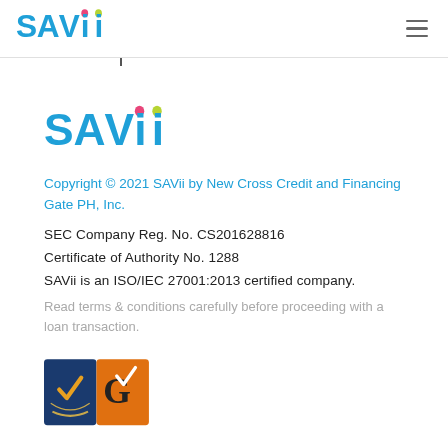SAVii [logo] [hamburger menu]
[Figure (logo): SAVii logo large, blue text with pink and yellow-green accent marks on the two i letters]
Copyright © 2021 SAVii by New Cross Credit and Financing Gate PH, Inc.
SEC Company Reg. No. CS201628816
Certificate of Authority No. 1288
SAVii is an ISO/IEC 27001:2013 certified company.
Read terms & conditions carefully before proceeding with a loan transaction.
[Figure (logo): Certification badge logos at bottom left — blue wreath/checkmark badge and orange G checkmark badge]